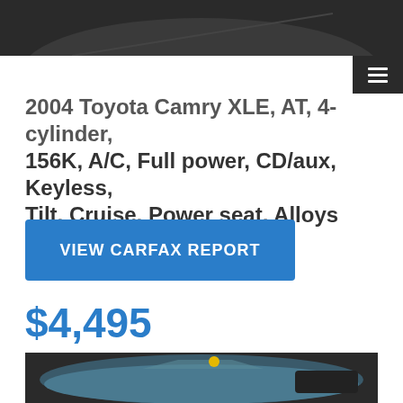[Figure (photo): Top portion of a vehicle photo, dark/cropped, shown as a dark gray bar at top of page]
2004 Toyota Camry XLE, AT, 4-cylinder, 156K, A/C, Full power, CD/aux, Keyless, Tilt, Cruise, Power seat, Alloys
[Figure (other): Blue button labeled VIEW CARFAX REPORT]
$4,495
[Figure (photo): Photo of a blue 2004 Toyota Camry in a parking lot]